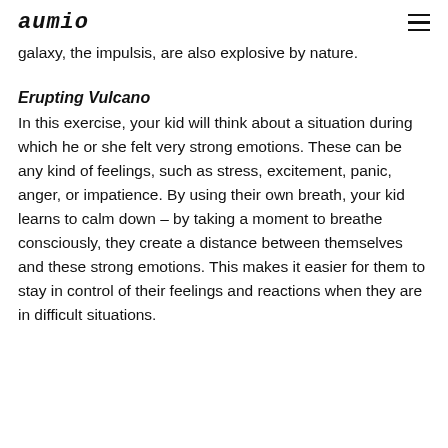aumio
galaxy, the impulsis, are also explosive by nature.
Erupting Vulcano
In this exercise, your kid will think about a situation during which he or she felt very strong emotions. These can be any kind of feelings, such as stress, excitement, panic, anger, or impatience. By using their own breath, your kid learns to calm down – by taking a moment to breathe consciously, they create a distance between themselves and these strong emotions. This makes it easier for them to stay in control of their feelings and reactions when they are in difficult situations.